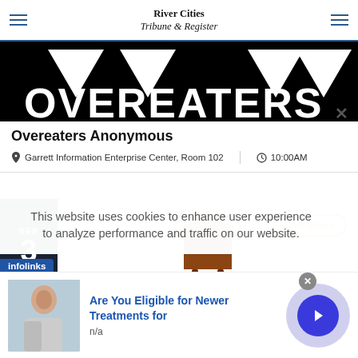River Cities Tribune & Register
[Figure (logo): Overeaters Anonymous logo — black triangular shapes with large bold text OVEREATERS partially visible]
Overeaters Anonymous
Garrett Information Enterprise Center, Room 102   10:00AM
[Figure (illustration): Homemade ice cream bucket illustration with the word Homemade in cursive text above]
SEP 3
Fundraisers
This website uses cookies to enhance user experience to analyze performance and traffic on our website.
infolinks
[Figure (photo): Person seated, partial photo in ad banner]
Are You Eligible for Newer Treatments for
n/a